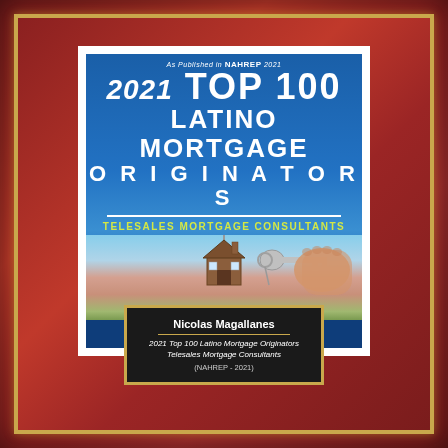[Figure (illustration): A wooden award plaque with dark red/mahogany finish and gold border. In the upper portion is an award certificate card for '2021 Top 100 Latino Mortgage Originators - Telesales Mortgage Consultants' as published in NAHREP 2021, with a photo of a hand holding house keys with a house-shaped keychain. At the bottom of the plaque is a black nameplate with gold border reading: Nicolas Magallanes, 2021 Top 100 Latino Mortgage Originators, Telesales Mortgage Consultants, (NAHREP - 2021).]